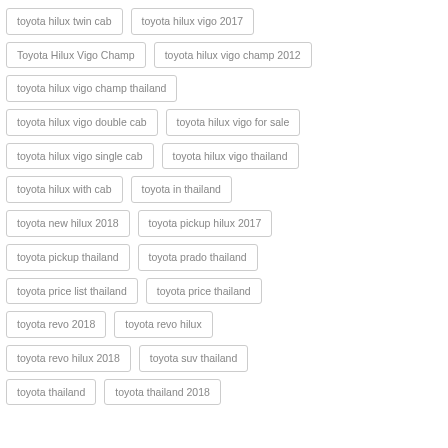toyota hilux twin cab
toyota hilux vigo 2017
Toyota Hilux Vigo Champ
toyota hilux vigo champ 2012
toyota hilux vigo champ thailand
toyota hilux vigo double cab
toyota hilux vigo for sale
toyota hilux vigo single cab
toyota hilux vigo thailand
toyota hilux with cab
toyota in thailand
toyota new hilux 2018
toyota pickup hilux 2017
toyota pickup thailand
toyota prado thailand
toyota price list thailand
toyota price thailand
toyota revo 2018
toyota revo hilux
toyota revo hilux 2018
toyota suv thailand
toyota thailand
toyota thailand 2018